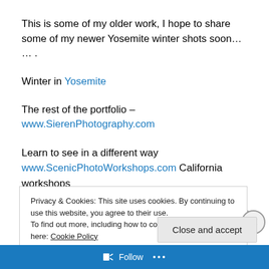This is some of my older work, I hope to share some of my newer Yosemite winter shots soon… … .
Winter in Yosemite
The rest of the portfolio – www.SierenPhotography.com
Learn to see in a different way
www.ScenicPhotoWorkshops.com California workshops
Sponsored Content
Privacy & Cookies: This site uses cookies. By continuing to use this website, you agree to their use.
To find out more, including how to control cookies, see here: Cookie Policy